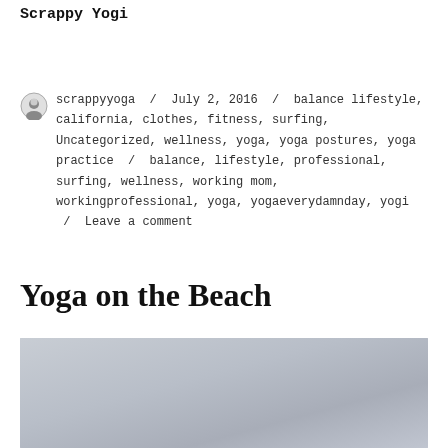Scrappy Yogi
scrappyyoga / July 2, 2016 / balance lifestyle, california, clothes, fitness, surfing, Uncategorized, wellness, yoga, yoga postures, yoga practice / balance, lifestyle, professional, surfing, wellness, working mom, workingprofessional, yoga, yogaeverydamnday, yogi / Leave a comment
Yoga on the Beach
[Figure (photo): Gray/silver sky or beach photo, partially visible at bottom of page]